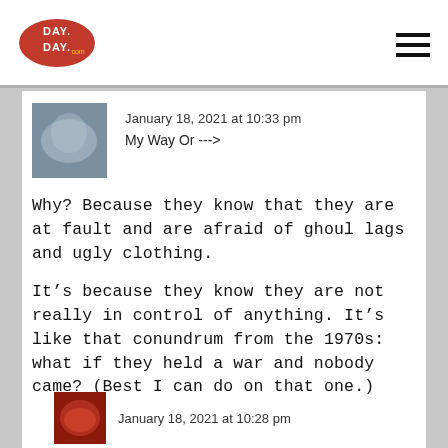DAY DAY
January 18, 2021 at 10:33 pm
My Way Or --->
Why? Because they know that they are at fault and are afraid of ghoul lags and ugly clothing.
It’s because they know they are not really in control of anything. It’s like that conundrum from the 1970s: what if they held a war and nobody came? (Best I can do on that one.)
January 18, 2021 at 10:28 pm